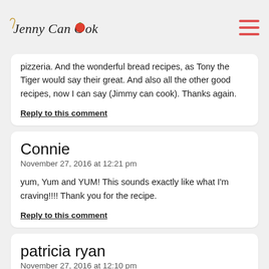Jenny Can Cook
pizzeria. And the wonderful bread recipes, as Tony the Tiger would say their great. And also all the other good recipes, now I can say (Jimmy can cook). Thanks again.
Reply to this comment
Connie
November 27, 2016 at 12:21 pm
yum, Yum and YUM! This sounds exactly like what I'm craving!!!! Thank you for the recipe.
Reply to this comment
patricia ryan
November 27, 2016 at 12:10 pm